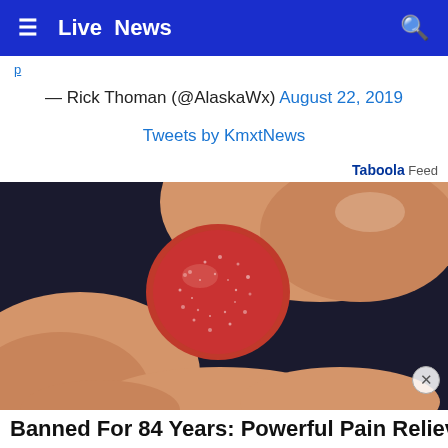≡ Live News 🔍
— Rick Thoman (@AlaskaWx) August 22, 2019
Tweets by KmxtNews
Taboola Feed
[Figure (photo): A hand holding a red sugary gummy candy against a dark background]
Banned For 84 Years: Powerful Pain Reliever